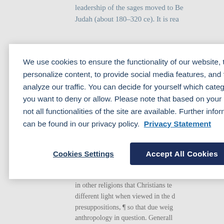leadership of the sages moved to Be… Judah (about 180–320 ce). It is rea…
We use cookies to ensure the functionality of our website, to personalize content, to provide social media features, and to analyze our traffic. You can decide for yourself which categories you want to deny or allow. Please note that based on your settings not all functionalities of the site are available. Further information can be found in our privacy policy.  Privacy Statement
Cookies Settings
Accept All Cookies
[German Version] I. Religious Stu… the perspective of religious studies… term itself has no culturally neutra… in other religions that Christians te… different light when viewed in the d… presuppositions, ¶ so that due weig… anthropology in question. Generall… almost all non-Christian religions t…